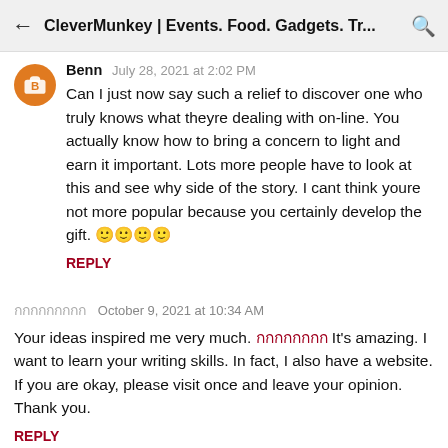CleverMunkey | Events. Food. Gadgets. Tr...
Benn  July 28, 2021 at 2:02 PM
Can I just now say such a relief to discover one who truly knows what theyre dealing with on-line. You actually know how to bring a concern to light and earn it important. Lots more people have to look at this and see why side of the story. I cant think youre not more popular because you certainly develop the gift. 🙂🙂🙂🙂
REPLY
กกกกกกกกก  October 9, 2021 at 10:34 AM
Your ideas inspired me very much. กกกกกกกก It's amazing. I want to learn your writing skills. In fact, I also have a website. If you are okay, please visit once and leave your opinion. Thank you.
REPLY